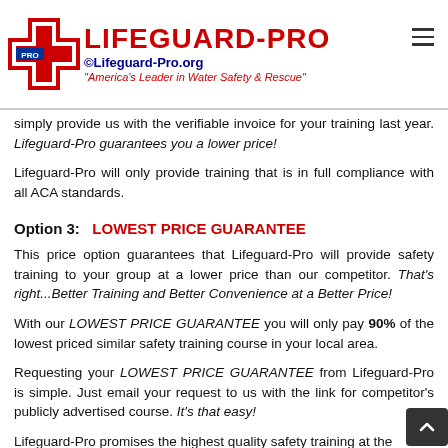Lifeguard-Pro ©Lifeguard-Pro.org "America's Leader in Water Safety & Rescue"
simply provide us with the verifiable invoice for your training last year. Lifeguard-Pro guarantees you a lower price!
Lifeguard-Pro will only provide training that is in full compliance with all ACA standards.
Option 3:   LOWEST PRICE GUARANTEE
This price option guarantees that Lifeguard-Pro will provide safety training to your group at a lower price than our competitor. That's right...Better Training and Better Convenience at a Better Price!
With our LOWEST PRICE GUARANTEE you will only pay 90% of the lowest priced similar safety training course in your local area.
Requesting your LOWEST PRICE GUARANTEE from Lifeguard-Pro is simple. Just email your request to us with the link for competitor's publicly advertised course. It's that easy!
Lifeguard-Pro promises the highest quality safety training at the